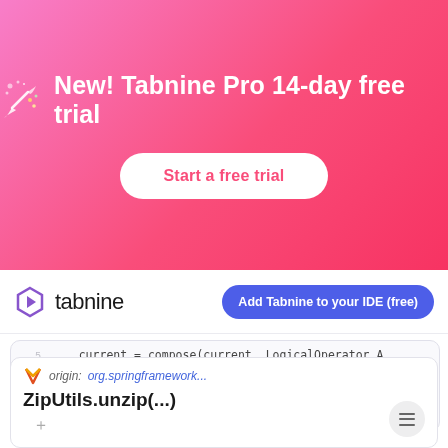[Figure (infographic): Pink/coral gradient banner advertising Tabnine Pro 14-day free trial with party popper emoji icon and a white 'Start a free trial' button]
New! Tabnine Pro 14-day free trial
Start a free trial
[Figure (logo): Tabnine logo: purple hexagon play-button icon followed by 'tabnine' text and a blue 'Add Tabnine to your IDE (free)' pill button]
tabnine
Add Tabnine to your IDE (free)
[Figure (screenshot): Code snippet panel showing Java/Kotlin code with line numbers, including 'current = compose(current, LogicalOperator.A', closing brace, return current; and closing brace on lines 5-10]
current = compose(current, LogicalOperator.A
return current;
[Figure (screenshot): Tabnine suggestion card showing origin: org.springframework... and method ZipUtils.unzip(...) with a hamburger menu button]
origin: org.springframework...
ZipUtils.unzip(...)